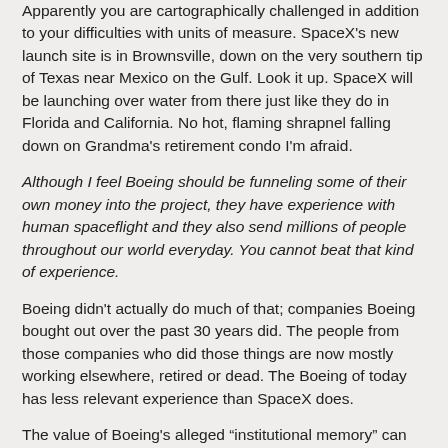Apparently you are cartographically challenged in addition to your difficulties with units of measure. SpaceX's new launch site is in Brownsville, down on the very southern tip of Texas near Mexico on the Gulf. Look it up. SpaceX will be launching over water from there just like they do in Florida and California. No hot, flaming shrapnel falling down on Grandma's retirement condo I'm afraid.
Although I feel Boeing should be funneling some of their own money into the project, they have experience with human spaceflight and they also send millions of people throughout our world everyday. You cannot beat that kind of experience.
Boeing didn't actually do much of that; companies Boeing bought out over the past 30 years did. The people from those companies who did those things are now mostly working elsewhere, retired or dead. The Boeing of today has less relevant experience than SpaceX does.
The value of Boeing's alleged “institutional memory” can best be gauged by considering the hash its current management made of the